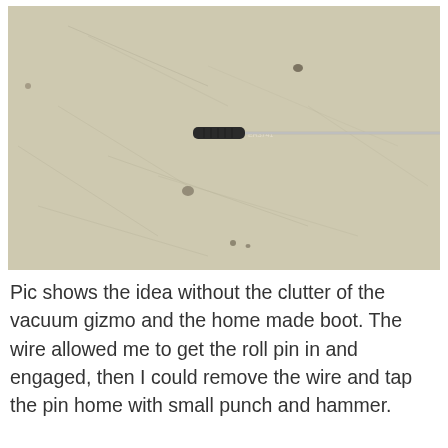[Figure (photo): A thin metal rod or wire with a black cylindrical handle/grip at one end, lying on a scratched beige/tan work surface. The rod extends to the right. Some markings visible near the grip area.]
Pic shows the idea without the clutter of the vacuum gizmo and the home made boot. The wire allowed me to get the roll pin in and engaged, then I could remove the wire and tap the pin home with small punch and hammer.